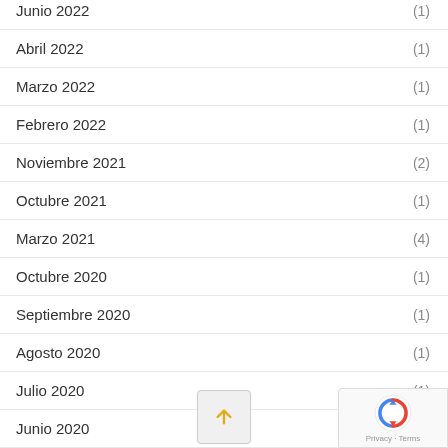Junio 2022 (1)
Abril 2022 (1)
Marzo 2022 (1)
Febrero 2022 (1)
Noviembre 2021 (2)
Octubre 2021 (1)
Marzo 2021 (4)
Octubre 2020 (1)
Septiembre 2020 (1)
Agosto 2020 (1)
Julio 2020 (1)
Junio 2020
Mayo 2020
Abril 2020